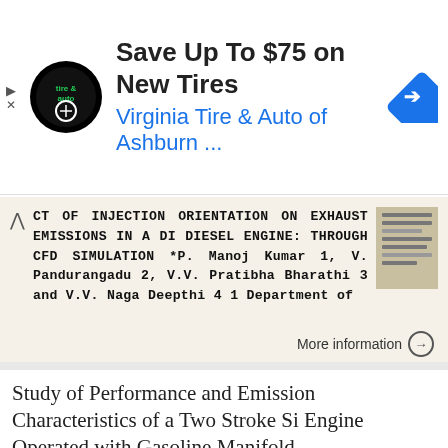[Figure (other): Advertisement banner: Save Up To $75 on New Tires - Virginia Tire & Auto of Ashburn with logo and direction icon]
CT OF INJECTION ORIENTATION ON EXHAUST EMISSIONS IN A DI DIESEL ENGINE: THROUGH CFD SIMULATION *P. Manoj Kumar 1, V. Pandurangadu 2, V.V. Pratibha Bharathi 3 and V.V. Naga Deepthi 4 1 Department of
More information →
Study of Performance and Emission Characteristics of a Two Stroke Si Engine Operated with Gasoline Manifold
Indian Journal of Science and Technology, Vol 9(37),    DOI: 10.17485/ijst/2016/v9i37/101984, October